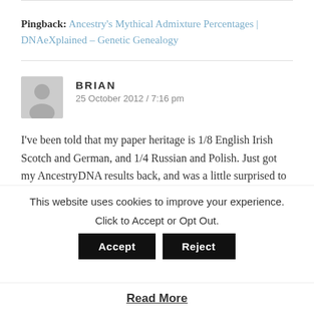Pingback: Ancestry's Mythical Admixture Percentages | DNAeXplained – Genetic Genealogy
BRIAN
25 October 2012 / 7:16 pm
I've been told that my paper heritage is 1/8 English Irish Scotch and German, and 1/4 Russian and Polish. Just got my AncestryDNA results back, and was a little surprised to see no British Isles, but instead 33% Scandinavian, 28% Central
This website uses cookies to improve your experience.
Click to Accept or Opt Out.
Read More